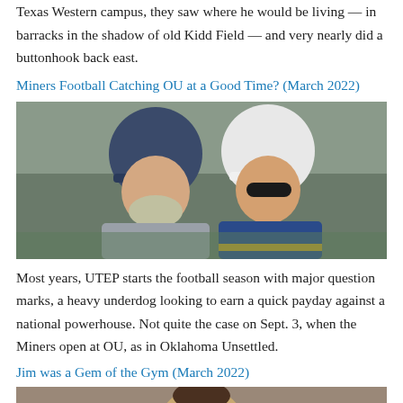Texas Western campus, they saw where he would be living — in barracks in the shadow of old Kidd Field — and very nearly did a buttonhook back east.
Miners Football Catching OU at a Good Time? (March 2022)
[Figure (photo): Two men wearing baseball caps standing side by side outdoors, one in a blue cap and grey shirt, the other in a white cap and blue/gold jacket with sunglasses.]
Most years, UTEP starts the football season with major question marks, a heavy underdog looking to earn a quick payday against a national powerhouse. Not quite the case on Sept. 3, when the Miners open at OU, as in Oklahoma Unsettled.
Jim was a Gem of the Gym (March 2022)
[Figure (photo): Partial photo of a person, cropped at bottom of page.]